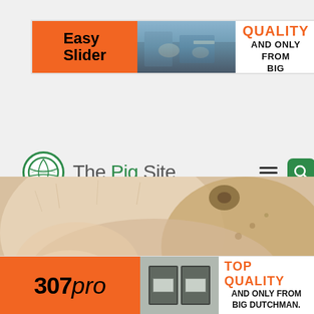[Figure (illustration): Banner advertisement for Easy Slider product by Big Dutchman. Orange left panel with 'Easy Slider' text, center pig farm photo, right white panel with 'TOP QUALITY AND ONLY FROM BIG DUTCHMAN.' text]
[Figure (logo): The Pig Site website logo and navigation header with globe icon, site name, hamburger menu, and green search button]
[Figure (infographic): Social media sharing icons: Facebook (blue), Twitter (light blue), LinkedIn (dark blue), Email (black), all circular]
[Figure (photo): Close-up photo of a pig's face/snout with ear tag visible]
[Figure (illustration): Banner advertisement for 307 pro product by Big Dutchman. Orange left panel with '307 pro' text, center image of two control devices, right white panel with 'TOP QUALITY AND ONLY FROM BIG DUTCHMAN.' text]